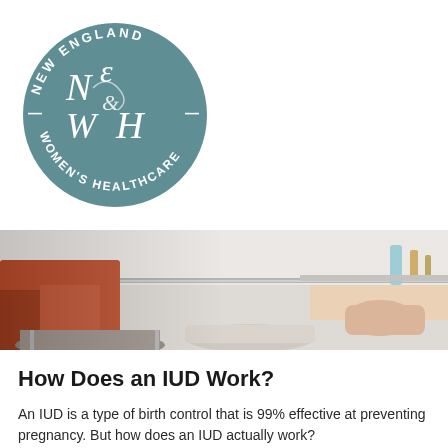[Figure (logo): New England Women's Healthcare circular logo with teal/slate blue background. Features stylized 'NE WH' monogram letters in white script in the center, surrounded by the text 'NEW ENGLAND' at the top arc and 'WOMEN'S HEALTHCARE' at the bottom arc, all in white capital letters on the circular border.]
[Figure (photo): A person wearing a red/orange long-sleeve top sitting in a medical chair, viewed from behind/side. A medical professional's hands are visible on the right side of the frame near the patient. Medical equipment visible in the background.]
How Does an IUD Work?
An IUD is a type of birth control that is 99% effective at preventing pregnancy. But how does an IUD actually work?